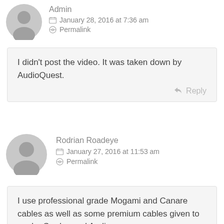Admin
January 28, 2016 at 7:36 am
Permalink
I didn't post the video. It was taken down by AudioQuest.
Reply
Rodrian Roadeye
January 27, 2016 at 11:53 am
Permalink
I use professional grade Mogami and Canare cables as well as some premium cables given to me by Cardas and Audience.

If only you had said that you used regular 16 gauge